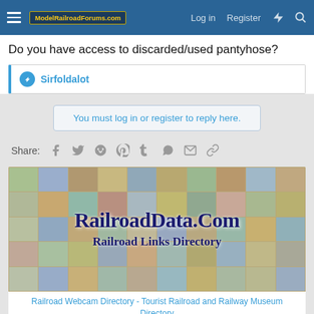ModelRailroadForums.com — Log in  Register
Do you have access to discarded/used pantyhose?
Sirfoldalot
You must log in or register to reply here.
Share:
[Figure (screenshot): RailroadData.Com banner advertisement showing a collage of railroad photos with bold text 'RailroadData.Com' and 'Railroad Links Directory']
Railroad Webcam Directory - Tourist Railroad and Railway Museum Directory